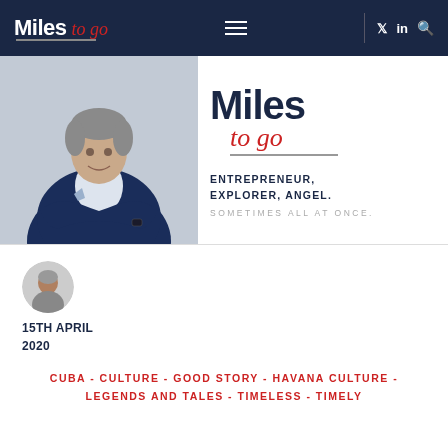Miles to go
[Figure (photo): Hero banner with man in blue suit arms crossed and Miles to go logo with tagline ENTREPRENEUR, EXPLORER, ANGEL. SOMETIMES ALL AT ONCE]
15TH APRIL
2020
CUBA - CULTURE - GOOD STORY - HAVANA CULTURE - LEGENDS AND TALES - TIMELESS - TIMELY